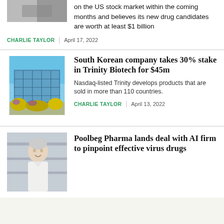on the US stock market within the coming months and believes its new drug candidates are worth at least $1 billion
CHARLIE TAYLOR | April 17, 2022
South Korean company takes 30% stake in Trinity Biotech for $45m
Nasdaq-listed Trinity develops products that are sold in more than 110 countries.
CHARLIE TAYLOR | April 13, 2022
Poolbeg Pharma lands deal with AI firm to pinpoint effective virus drugs